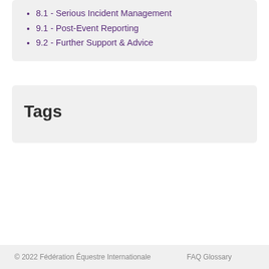8.1 - Serious Incident Management
9.1 - Post-Event Reporting
9.2 - Further Support & Advice
Tags
© 2022 Fédération Équestre Internationale    FAQ Glossary